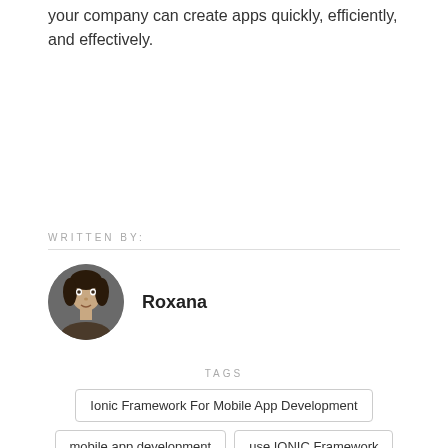your company can create apps quickly, efficiently, and effectively.
WRITTEN BY:
[Figure (photo): Circular headshot photo of author Roxana, a woman with dark hair.]
Roxana
TAGS
Ionic Framework For Mobile App Development
mobile app development
use IONIC Framework